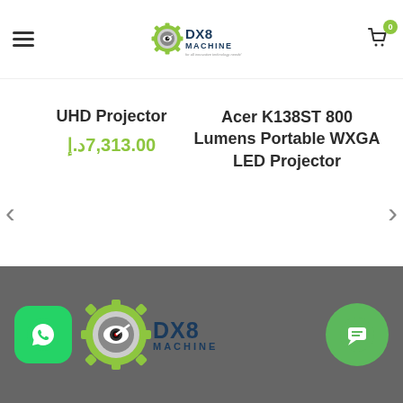[Figure (logo): DX8 Machine logo with gear icon and tagline 'for all innovative technology needs!']
UHD Projector
د.إ7,313.00
Acer K138ST 800 Lumens Portable WXGA LED Projector
[Figure (logo): DX8 Machine large footer logo with gear icon and stylized text]